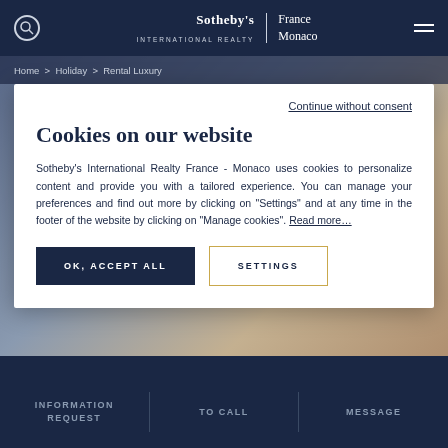Sotheby's INTERNATIONAL REALTY | France Monaco
Home > Holiday > Rental Luxury
Continue without consent
Cookies on our website
Sotheby's International Realty France - Monaco uses cookies to personalize content and provide you with a tailored experience. You can manage your preferences and find out more by clicking on "Settings" and at any time in the footer of the website by clicking on "Manage cookies". Read more...
OK, ACCEPT ALL
SETTINGS
INFORMATION REQUEST | TO CALL | MESSAGE